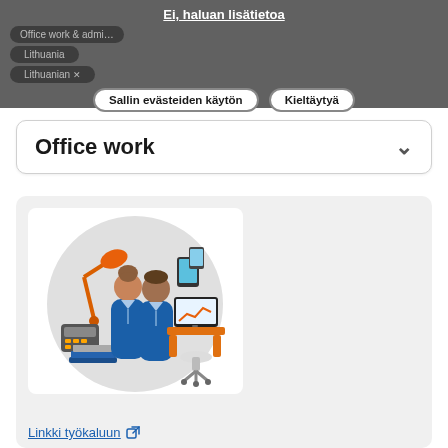Ei, haluan lisätietoa
Office work & admin
Lithuania
Lithuanian
Sallin evästeiden käytön
Kieltäytyä
Office work
[Figure (illustration): Circle illustration of two office workers in suits with office objects: orange desk lamp, tablet/phone devices, computer monitor with chart, office chair, telephone/calculator, books/folders, orange desk]
Linkki työkaluun 🔗